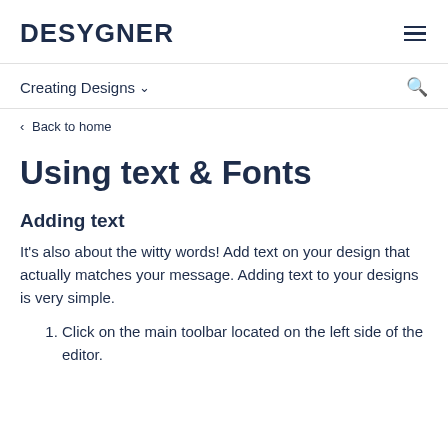DESYGNER
Creating Designs ˅
< Back to home
Using text & Fonts
Adding text
It's also about the witty words! Add text on your design that actually matches your message. Adding text to your designs is very simple.
1. Click on the main toolbar located on the left side of the editor.